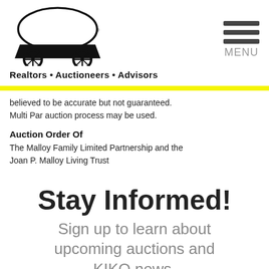[Figure (logo): KIKO logo with covered wagon icon]
Realtors • Auctioneers • Advisors
[Figure (other): Hamburger menu icon with MENU label]
believed to be accurate but not guaranteed. Multi Par auction process may be used.
Auction Order Of
The Malloy Family Limited Partnership and the Joan P. Malloy Living Trust
Stay Informed!
Sign up to learn about upcoming auctions and KIKO news.